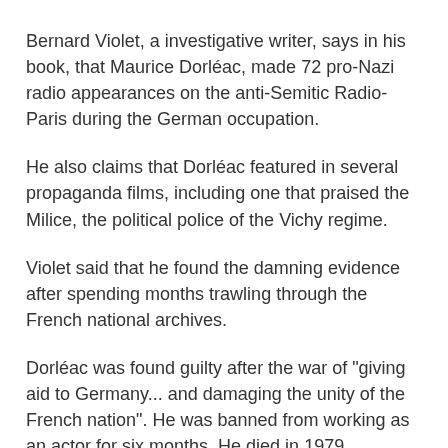Bernard Violet, a investigative writer, says in his book, that Maurice Dorléac, made 72 pro-Nazi radio appearances on the anti-Semitic Radio-Paris during the German occupation.
He also claims that Dorléac featured in several propaganda films, including one that praised the Milice, the political police of the Vichy regime.
Violet said that he found the damning evidence after spending months trawling through the French national archives.
Dorléac was found guilty after the war of "giving aid to Germany... and damaging the unity of the French nation". He was banned from working as an actor for six months. He died in 1979.
Deneuve, 63, who was born in Nazi-occupied Paris in 1943, lobbied to prevent publication of the book, which went on sale in France this week.